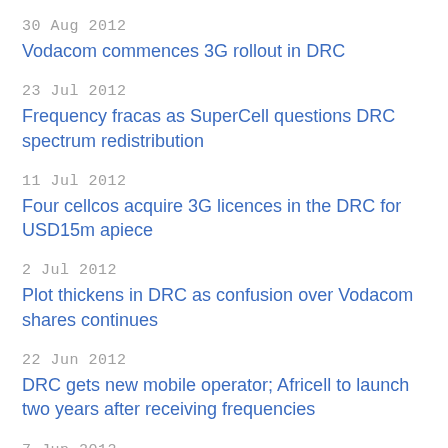30 Aug 2012
Vodacom commences 3G rollout in DRC
23 Jul 2012
Frequency fracas as SuperCell questions DRC spectrum redistribution
11 Jul 2012
Four cellcos acquire 3G licences in the DRC for USD15m apiece
2 Jul 2012
Plot thickens in DRC as confusion over Vodacom shares continues
22 Jun 2012
DRC gets new mobile operator; Africell to launch two years after receiving frequencies
7 Jun 2012